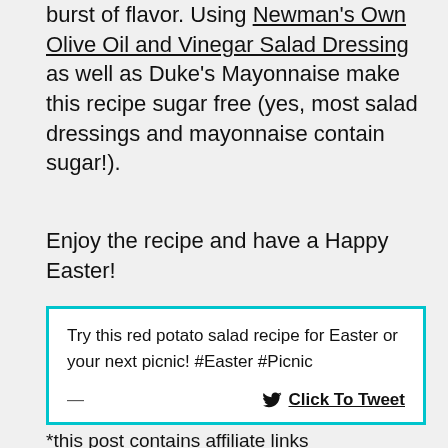burst of flavor. Using Newman's Own Olive Oil and Vinegar Salad Dressing as well as Duke's Mayonnaise make this recipe sugar free (yes, most salad dressings and mayonnaise contain sugar!).
Enjoy the recipe and have a Happy Easter!
Try this red potato salad recipe for Easter or your next picnic! #Easter #Picnic
— Click To Tweet
*this post contains affiliate links
[Figure (photo): Bottom portion of a green-bordered image, partially visible at the bottom of the page, showing a blurred food-related photo.]